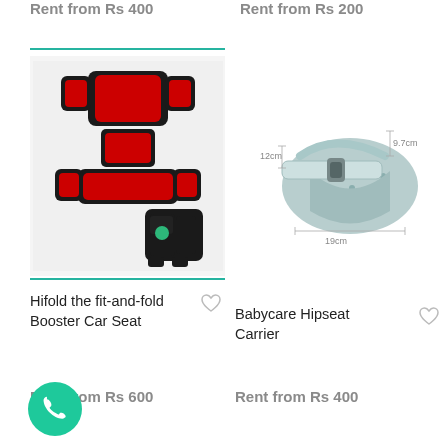Rent from Rs 400
Rent from Rs 200
[Figure (photo): Hifold fit-and-fold booster car seat in red and black, shown expanded and folded]
[Figure (photo): Babycare Hipseat Carrier in grey patterned fabric with dimension labels: 9.7cm, 12cm, 19cm]
Hifold the fit-and-fold Booster Car Seat
Babycare Hipseat Carrier
Rent from Rs 600
Rent from Rs 400